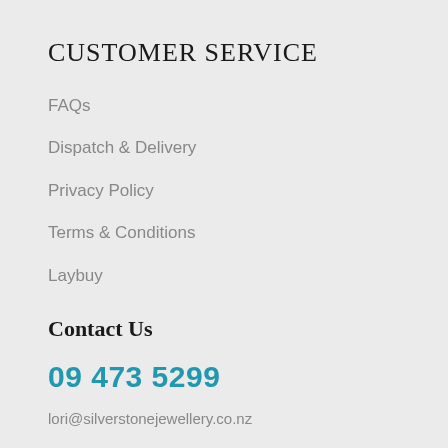CUSTOMER SERVICE
FAQs
Dispatch & Delivery
Privacy Policy
Terms & Conditions
Laybuy
Contact Us
09 473 5299
lori@silverstonejewellery.co.nz